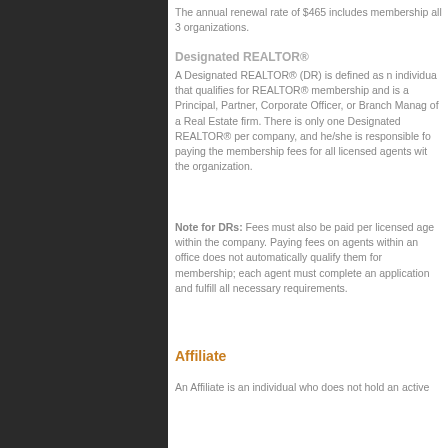The annual renewal rate of $465 includes membership all 3 organizations.
Designated REALTOR®
A Designated REALTOR® (DR) is defined as n individual that qualifies for REALTOR® membership and is a Principal, Partner, Corporate Officer, or Branch Manager of a Real Estate firm. There is only one Designated REALTOR® per company, and he/she is responsible for paying the membership fees for all licensed agents with the organization.
Note for DRs: Fees must also be paid per licensed agent within the company. Paying fees on agents within an office does not automatically qualify them for membership; each agent must complete an application and fulfill all necessary requirements.
Affiliate
An Affiliate is an individual who does not hold an active